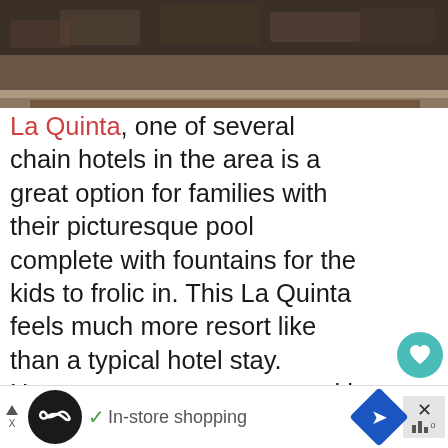[Figure (photo): Top portion of a stone wall or rocky landscape exterior, cropped at the top of the page]
La Quinta, one of several chain hotels in the area is a great option for families with their picturesque pool complete with fountains for the kids to frolic in. This La Quinta feels much more resort like than a typical hotel stay. However, your stay comes with all the little luxuries fans of La Quinta are used to such as free breakfast, free Wi Fi, a microwave, refrigerator and more. While prices aren't always much cheaper than the other options listed here, if you book early enough you can usually find a deal. get breakfast included which does help save some money for budgeting families
[Figure (screenshot): Ad bar at the bottom with Google Ads showing In-store shopping with navigation icons]